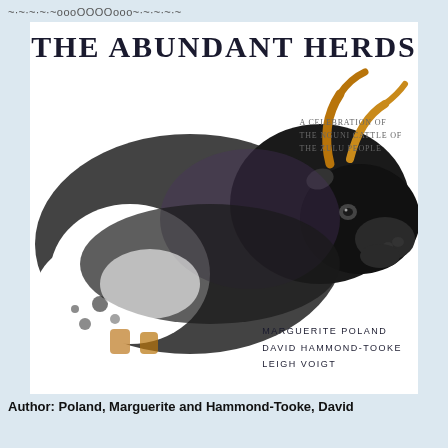~·~·~·~·~oooOOOOooo~·~·~·~·~
[Figure (photo): Book cover of 'The Abundant Herds' showing a black and white Nguni cattle with large horns against a white background. Title at top reads 'THE ABUNDANT HERDS'. Subtitle reads 'A CELEBRATION OF THE NGUNI CATTLE OF THE ZULU PEOPLE'. Authors listed at bottom: MARGUERITE POLAND, DAVID HAMMOND-TOOKE, LEIGH VOIGT.]
Author: Poland, Marguerite and Hammond-Tooke, David